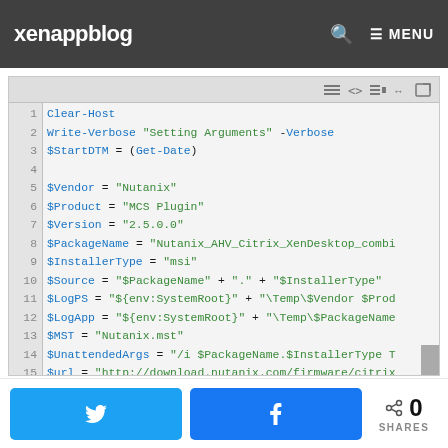xenappblog   🔍  ≡ MENU
[Figure (screenshot): Code editor screenshot showing PowerShell script with syntax highlighting. Lines 1-21 visible. Line 1: Clear-Host. Line 2: Write-Verbose "Setting Arguments" -Verbose. Line 3: $StartDTM = (Get-Date). Line 4: (blank). Line 5: $Vendor = "Nutanix". Line 6: $Product = "MCS Plugin". Line 7: $Version = "2.5.0.0". Line 8: $PackageName = "Nutanix_AHV_Citrix_XenDesktop_combi... Line 9: $InstallerType = "msi". Line 10: $Source = "$PackageName" + "." + "$InstallerType". Line 11: $LogPS = "${env:SystemRoot}" + "\Temp\$Vendor $Prod... Line 12: $LogApp = "${env:SystemRoot}" + "\Temp\$PackageName... Line 13: $MST = "Nutanix.mst". Line 14: $UnattendedArgs = "/i $PackageName.$InstallerType T... Line 15: $url = "http://download.nutanix.com/firmware/citrix... Line 16: (blank). Line 17: Start-Transcript $LogPS. Line 18: (blank). Line 19: If (!(Test-Path -Path $Version)) {New-Item -ItemTyp... Line 20: (blank). Line 21: CD $Version]
Twitter share button | Facebook share button | 0 SHARES